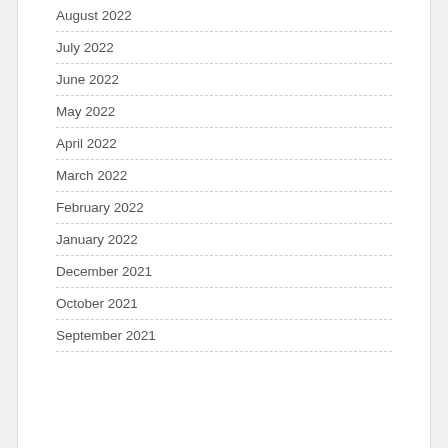August 2022
July 2022
June 2022
May 2022
April 2022
March 2022
February 2022
January 2022
December 2021
October 2021
September 2021